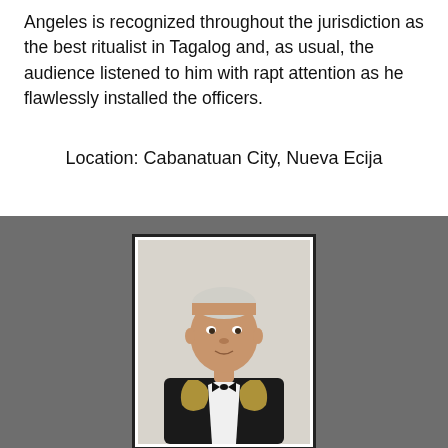Angeles is recognized throughout the jurisdiction as the best ritualist in Tagalog and, as usual, the audience listened to him with rapt attention as he flawlessly installed the officers.
Location: Cabanatuan City, Nueva Ecija
[Figure (photo): Portrait photo of an elderly Asian man wearing a black tuxedo with bow tie and a Masonic chain collar, set against a light background, displayed within a dark-bordered frame on a gray background.]